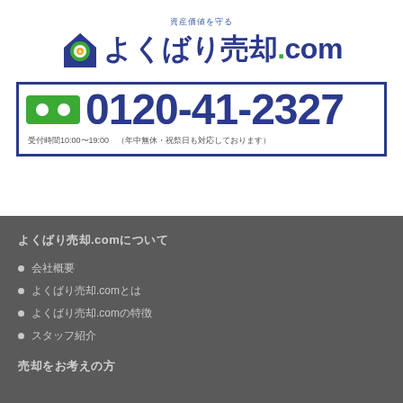[Figure (logo): よくばり売却.com logo with house icon and tagline 資産価値を守る]
0120-41-2327
受付時間10:00〜19:00 （年中無休・祝祭日も対応しております）
よくばり売却.comについて
会社概要
よくばり売却.comとは
よくばり売却.comの特徴
スタッフ紹介
売却をお考えの方